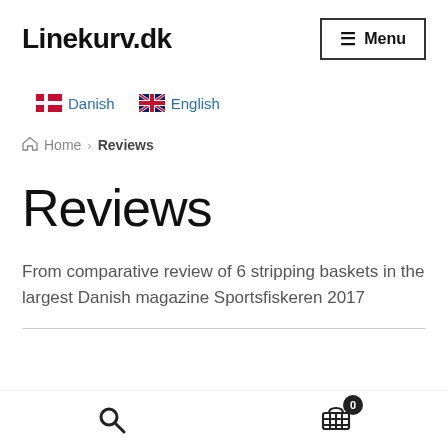Linekurv.dk  ☰ Menu
Danish  English
Home › Reviews
Reviews
From comparative review of 6 stripping baskets in the largest Danish magazine Sportsfiskeren 2017
🔍  🛒 0